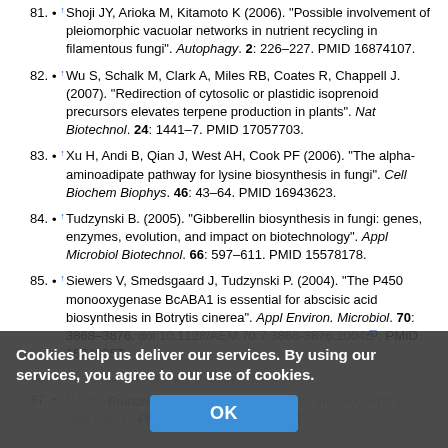81. ↑ Shoji JY, Arioka M, Kitamoto K (2006). "Possible involvement of pleiomorphic vacuolar networks in nutrient recycling in filamentous fungi". Autophagy. 2: 226–227. PMID 16874107.
82. ↑ Wu S, Schalk M, Clark A, Miles RB, Coates R, Chappell J. (2007). "Redirection of cytosolic or plastidic isoprenoid precursors elevates terpene production in plants". Nat Biotechnol. 24: 1441–7. PMID 17057703.
83. ↑ Xu H, Andi B, Qian J, West AH, Cook PF (2006). "The alpha-aminoadipate pathway for lysine biosynthesis in fungi". Cell Biochem Biophys. 46: 43–64. PMID 16943623.
84. ↑ Tudzynski B. (2005). "Gibberellin biosynthesis in fungi: genes, enzymes, evolution, and impact on biotechnology". Appl Microbiol Biotechnol. 66: 597–611. PMID 15578178.
85. ↑ Siewers V, Smedsgaard J, Tudzynski P. (2004). "The P450 monooxygenase BcABA1 is essential for abscisic acid biosynthesis in Botrytis cinerea". Appl Environ. Microbiol. 70: 3868–3876. doi:10.1128/AEM.70.7.3868-3876.2004. PMID 15240257.
87. ↑ 87.0 87.1 Brundrett, M.C. "Coevolution of roots and mycorrhizas of land plants". Phytologist. 154 (2): 275–304.
Cookies help us deliver our services. By using our services, you agree to our use of cookies.